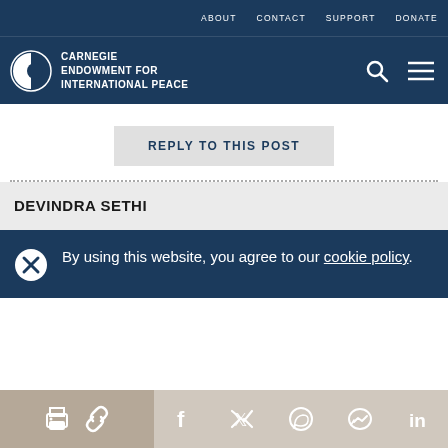ABOUT  CONTACT  SUPPORT  DONATE
[Figure (logo): Carnegie Endowment for International Peace logo with circular icon and white text]
REPLY TO THIS POST
DEVINDRA SETHI
By using this website, you agree to our cookie policy.
Share icons: print, link, facebook, twitter, whatsapp, messenger, linkedin